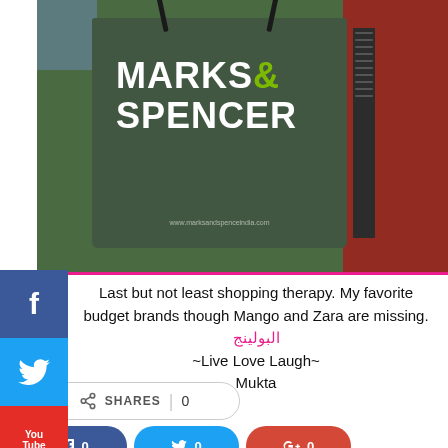[Figure (photo): A Marks & Spencer shopping bag (dark green) with white text and a green ampersand, placed on a red cloth background. The bag shows the URL www.marksandspencerindia.com at the bottom.]
Last but not least shopping therapy. My favorite budget brands though Mango and Zara are missing. البولينج
~Live Love Laugh~
Mukta